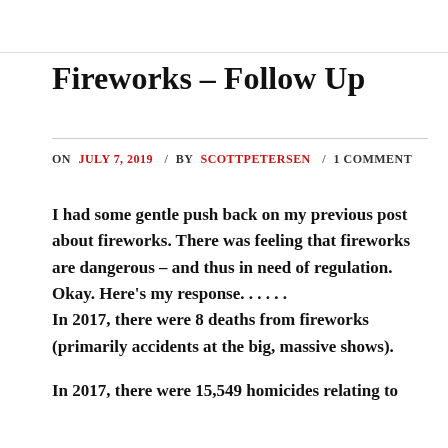Fireworks – Follow Up
ON JULY 7, 2019 / BY SCOTTPETERSEN / 1 COMMENT
I had some gentle push back on my previous post about fireworks.  There was feeling that fireworks are dangerous – and thus in need of regulation. Okay. Here's my response. . . . . .
In 2017, there were 8 deaths from fireworks (primarily accidents at the big, massive shows).
In 2017, there were 15,549 homicides relating to